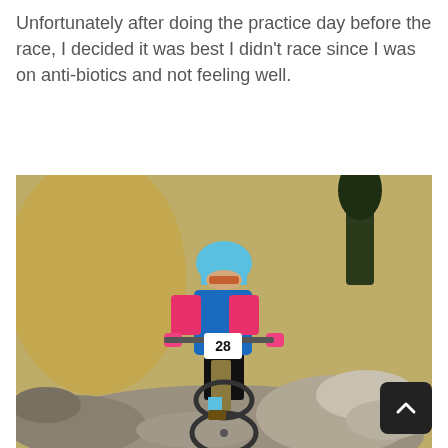Unfortunately after doing the practice day before the race, I decided it was best I didn't race since I was on anti-biotics and not feeling well.
[Figure (photo): A mountain biker wearing a blue helmet, blue and pink jersey, and pink gloves, riding number 28 down a rocky trail on a mountain bike. The background shows dry hillside terrain with sparse trees.]